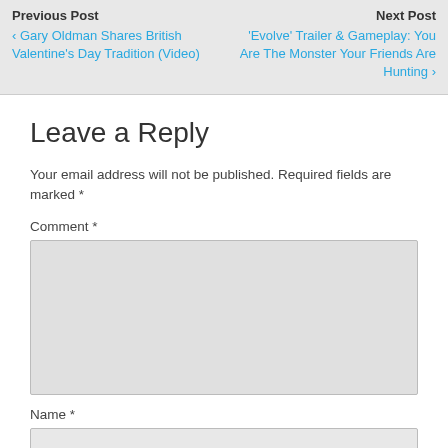Previous Post
Next Post
‹ Gary Oldman Shares British Valentine’s Day Tradition (Video)
‘Evolve’ Trailer & Gameplay: You Are The Monster Your Friends Are Hunting ›
Leave a Reply
Your email address will not be published. Required fields are marked *
Comment *
Name *